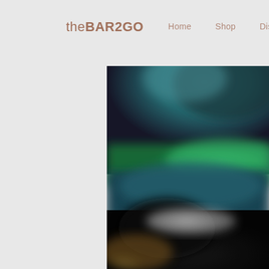theBAR2GO   Home   Shop   Distributors
[Figure (photo): Blurred close-up photograph of a bar-related product or device, showing teal/green and dark tones, partially visible on the right side of the page]